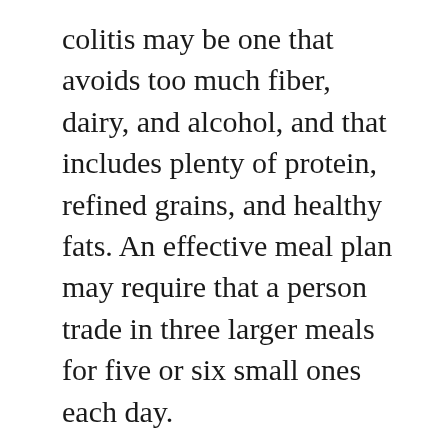colitis may be one that avoids too much fiber, dairy, and alcohol, and that includes plenty of protein, refined grains, and healthy fats. An effective meal plan may require that a person trade in three larger meals for five or six small ones each day.